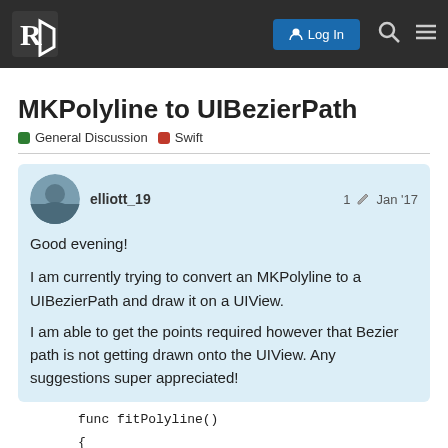Raywenderlich forum header with Log In button
MKPolyline to UIBezierPath
General Discussion  Swift
elliott_19  1  Jan '17
Good evening!

I am currently trying to convert an MKPolyline to a UIBezierPath and draw it on a UIView.
I am able to get the points required however that Bezier path is not getting drawn onto the UIView. Any suggestions super appreciated!
func fitPolyline()
    {
        polylineView.isHidden =
1 / 2